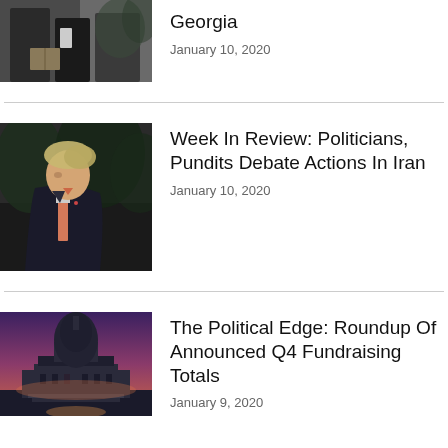[Figure (photo): Partial photo of people in formal attire, one holding a book, cropped at top]
Georgia
January 10, 2020
[Figure (photo): Profile photo of Donald Trump in dark suit and red tie, standing outdoors]
Week In Review: Politicians, Pundits Debate Actions In Iran
January 10, 2020
[Figure (photo): The US Capitol building at dusk/sunset with purple and pink sky]
The Political Edge: Roundup Of Announced Q4 Fundraising Totals
January 9, 2020